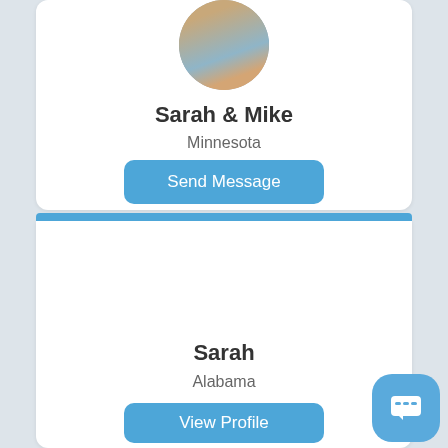[Figure (photo): Circular profile photo of Sarah and Mike, showing two children holding a sign outdoors]
Sarah & Mike
Minnesota
Send Message
Sarah
Alabama
View Profile
[Figure (illustration): Chat/message icon button in blue rounded square at bottom right]